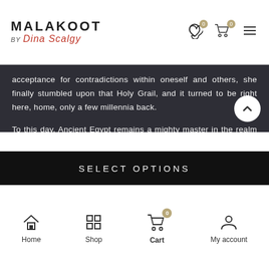MALAKOOT by Dina Scalgy
acceptance for contradictions within oneself and others, she finally stumbled upon that Holy Grail, and it turned to be right here, home, only a few millennia back.
To this day, Ancient Egypt remains a mighty master in the realm of tolerance, harmony and acceptance where duality is not only tolerated but glorified as the motor of Life. This was the door through which Dina embarked on her art journey a few years ago.
Dina...
SELECT OPTIONS
Home  Shop  Cart  My account